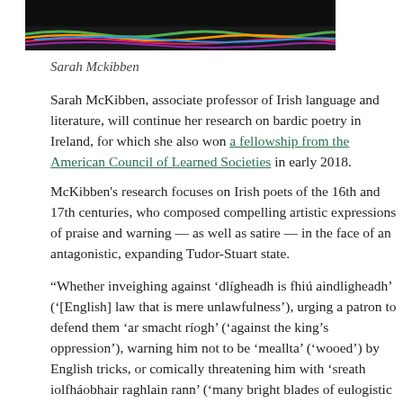[Figure (photo): Partial photo showing colorful wires or strings against a dark background, cropped at top of page]
Sarah Mckibben
Sarah McKibben, associate professor of Irish language and literature, will continue her research on bardic poetry in Ireland, for which she also won a fellowship from the American Council of Learned Societies in early 2018.
McKibben's research focuses on Irish poets of the 16th and 17th centuries, who composed compelling artistic expressions of praise and warning — as well as satire — in the face of an antagonistic, expanding Tudor-Stuart state.
“Whether inveighing against ‘dlígheadh is fhiú aindligheadh’ (‘[English] law that is mere unlawfulness’), urging a patron to defend them ‘ar smacht rêogh’ (‘against the king’s oppression’), warning him not to be ‘meallta’ (‘wooed’) by English tricks, or comically threatening him with ‘sreath iolfháobhair raghlain rann’ (‘many bright blades of eulogistic quatrains’), bardic poets testify to the richness of the poetic tradition in confronting